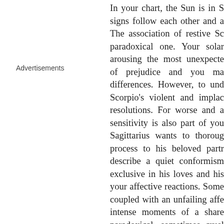Advertisements
In your chart, the Sun is in S signs follow each other and a The association of restive Sc paradoxical one. Your solar arousing the most unexpecte of prejudice and you ma differences. However, to und Scorpio's violent and implac resolutions. For worse and a sensitivity is also part of you Sagittarius wants to thoroug process to his beloved partr describe a quiet conformism exclusive in his loves and his your affective reactions. Some coupled with an unfailing affe intense moments of a share paradoxical, sometimes cruel you don't love me, I love you' you dread most in the world: b